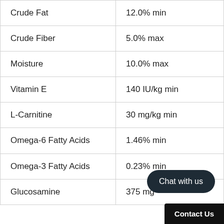| Nutrient | Amount |
| --- | --- |
| Crude Fat | 12.0% min |
| Crude Fiber | 5.0% max |
| Moisture | 10.0% max |
| Vitamin E | 140 IU/kg min |
| L-Carnitine | 30 mg/kg min |
| Omega-6 Fatty Acids | 1.46% min |
| Omega-3 Fatty Acids | 0.23% min |
| Glucosamine | 375 mg... |